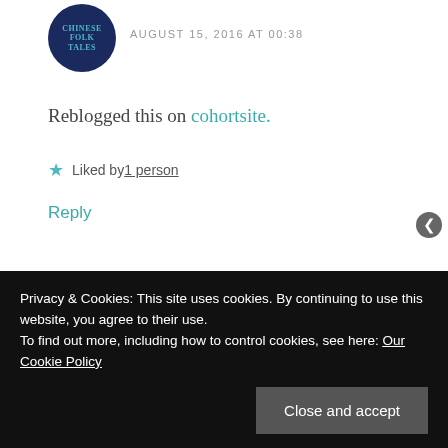[Figure (illustration): Circular avatar with dark blue background showing 'CHINESE FOLK TALES' text in teal]
AUGUST 15, 2016 AT 00:38
Reblogged this on cohortsite.
★ Liked by 1 person
Reply
[Figure (illustration): Circular avatar with purple geometric diamond/flower pattern on white background]
lidia
AUGUST 15, 2016 AT 10:12
Privacy & Cookies: This site uses cookies. By continuing to use this website, you agree to their use. To find out more, including how to control cookies, see here: Our Cookie Policy
Close and accept